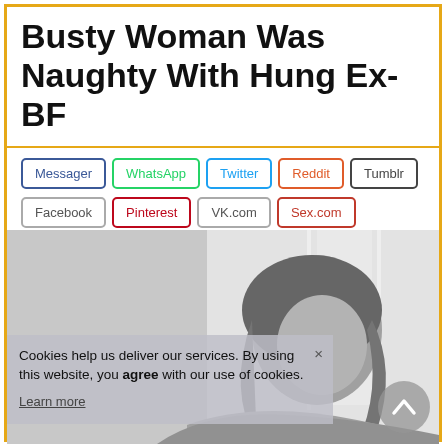Busty Woman Was Naughty With Hung Ex-BF
Messager  WhatsApp  Twitter  Reddit  Tumblr  Facebook  Pinterest  VK.com  Sex.com
[Figure (photo): Grayscale photo of a dark-haired woman near a bright window]
Cookies help us deliver our services. By using this website, you agree with our use of cookies.
Learn more